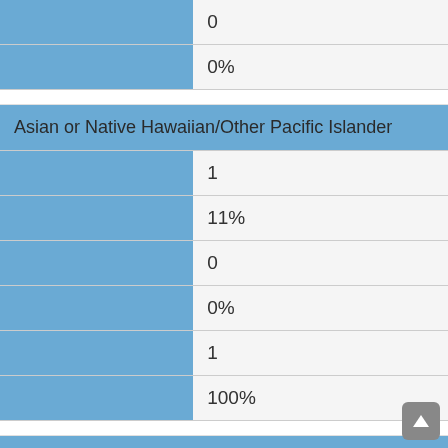0
0%
Asian or Native Hawaiian/Other Pacific Islander
1
11%
0
0%
1
100%
Black or African American
1